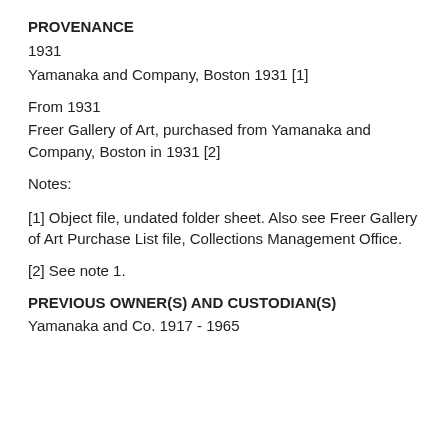PROVENANCE
1931
Yamanaka and Company, Boston 1931 [1]
From 1931
Freer Gallery of Art, purchased from Yamanaka and Company, Boston in 1931 [2]
Notes:
[1] Object file, undated folder sheet. Also see Freer Gallery of Art Purchase List file, Collections Management Office.
[2] See note 1.
PREVIOUS OWNER(S) AND CUSTODIAN(S)
Yamanaka and Co. 1917 - 1965